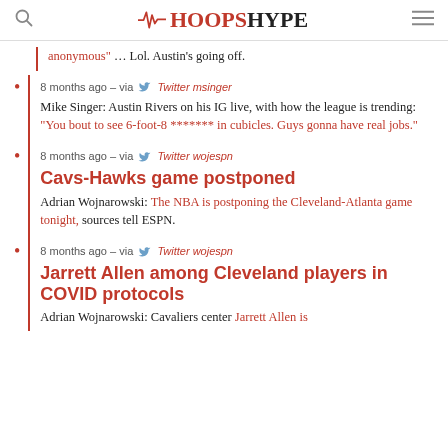HoopsHype
anonymous" … Lol. Austin's going off.
8 months ago – via Twitter msinger
Mike Singer: Austin Rivers on his IG live, with how the league is trending: "You bout to see 6-foot-8 ******* in cubicles. Guys gonna have real jobs."
8 months ago – via Twitter wojespn
Cavs-Hawks game postponed
Adrian Wojnarowski: The NBA is postponing the Cleveland-Atlanta game tonight, sources tell ESPN.
8 months ago – via Twitter wojespn
Jarrett Allen among Cleveland players in COVID protocols
Adrian Wojnarowski: Cavaliers center Jarrett Allen is